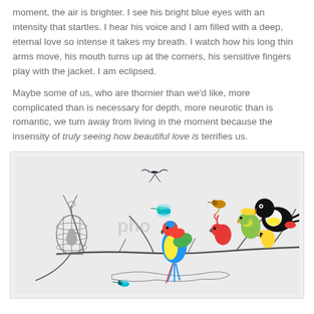moment, the air is brighter. I see his bright blue eyes with an intensity that startles. I hear his voice and I am filled with a deep, eternal love so intense it takes my breath. I watch how his long thin arms move, his mouth turns up at the corners, his sensitive fingers play with the jacket. I am eclipsed.
Maybe some of us, who are thornier than we'd like, more complicated than is necessary for depth, more neurotic than is romantic, we turn away from living in the moment because the insensity of truly seeing how beautiful love is terrifies us.
[Figure (illustration): Illustration of colorful exotic birds (toucan, parrots, hummingbirds, cardinal, finch, swallow) perched on bare branches and twigs, with a bird in a decorative birdcage on the left. A large colored macaw parrot in the center. Watermark text 'photo' visible. Light grey background.]